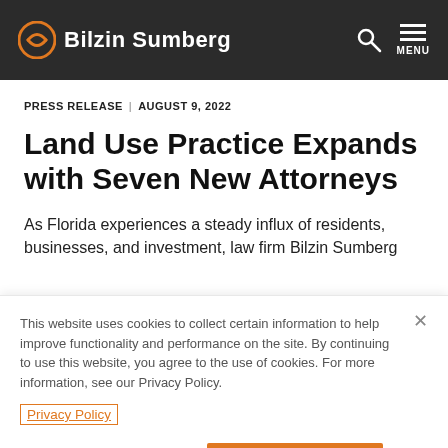Bilzin Sumberg
PRESS RELEASE  |  AUGUST 9, 2022
Land Use Practice Expands with Seven New Attorneys
As Florida experiences a steady influx of residents, businesses, and investment, law firm Bilzin Sumberg
This website uses cookies to collect certain information to help improve functionality and performance on the site. By continuing to use this website, you agree to the use of cookies. For more information, see our Privacy Policy.
Privacy Policy
Manage Cookies
Accept Cookies